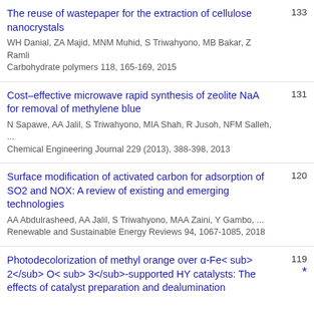The reuse of wastepaper for the extraction of cellulose nanocrystals
WH Danial, ZA Majid, MNM Muhid, S Triwahyono, MB Bakar, Z Ramli
Carbohydrate polymers 118, 165-169, 2015
133
Cost–effective microwave rapid synthesis of zeolite NaA for removal of methylene blue
N Sapawe, AA Jalil, S Triwahyono, MIA Shah, R Jusoh, NFM Salleh, ...
Chemical Engineering Journal 229 (2013), 388-398, 2013
131
Surface modification of activated carbon for adsorption of SO2 and NOX: A review of existing and emerging technologies
AA Abdulrasheed, AA Jalil, S Triwahyono, MAA Zaini, Y Gambo, ...
Renewable and Sustainable Energy Reviews 94, 1067-1085, 2018
120
Photodecolorization of methyl orange over α-Fe<sub> 2</sub> O< sub> 3</sub>-supported HY catalysts: The effects of catalyst preparation and dealumination
119 *